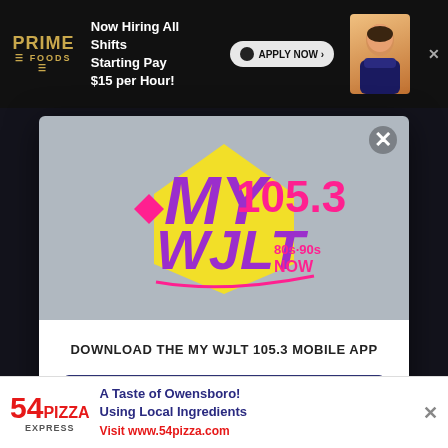[Figure (screenshot): Top banner advertisement for Prime Foods: 'Now Hiring All Shifts, Starting Pay $15 per Hour!' with Apply Now button]
[Figure (logo): MY 105.3 WJLT radio station logo — colorful purple, pink, yellow logo with text '80s 90s NOW']
DOWNLOAD THE MY WJLT 105.3 MOBILE APP
GET OUR FREE MOBILE APP
Also listen on:  amazon alexa
[Figure (screenshot): Bottom banner advertisement for 54 Pizza Express: 'A Taste of Owensboro! Using Local Ingredients Visit www.54pizza.com']